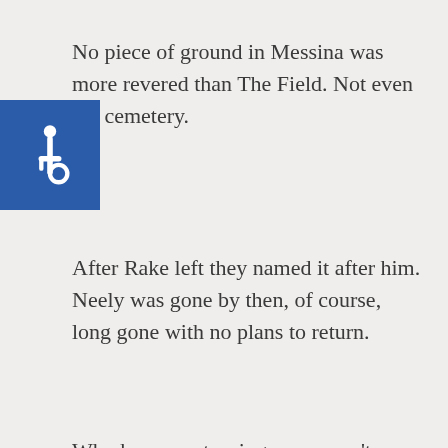No piece of ground in Messina was more revered than The Field. Not even the cemetery.
[Figure (logo): Blue accessibility/wheelchair icon symbol on a blue square background]
After Rake left they named it after him. Neely was gone by then, of course, long gone with no plans to return.
Why he was returning now wasn't completely clear, but deep in his soul he'd always known this day would come, the day somewhere out there in the future when he was called back. He'd always known that Rake would eventually die, and of course there would be a funeral with the whole town f